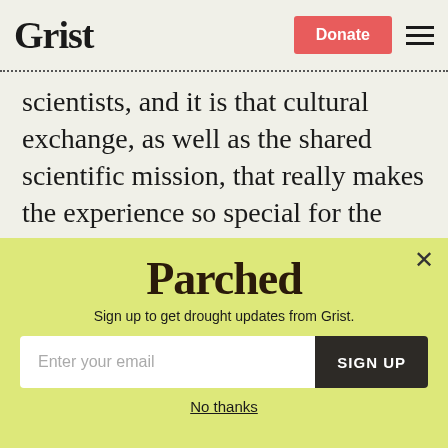Grist | Donate
scientists, and it is that cultural exchange, as well as the shared scientific mission, that really makes the experience so special for the volunteers.
Local community members involved with the volunteers also tell us that seeing that people travel long distances to come to their
[Figure (other): Parchea newsletter signup modal overlay with yellow-green background. Contains 'Parched' logo text, subtitle 'Sign up to get drought updates from Grist.', email input field, SIGN UP button, and 'No thanks' link.]